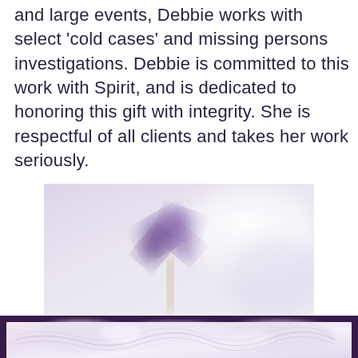and large events, Debbie works with select 'cold cases' and missing persons investigations. Debbie is committed to this work with Spirit, and is dedicated to honoring this gift with integrity. She is respectful of all clients and takes her work seriously.
[Figure (photo): A soft blurred photograph of a purple flower in a vase against a light background]
[Figure (photo): A close-up photograph of a pale pink/white crystal or mineral with a dark purple border frame]